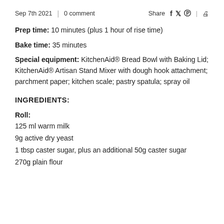Sep 7th 2021  |  0 comment   Share  f  tw  pinterest  print
Prep time: 10 minutes (plus 1 hour of rise time)
Bake time: 35 minutes
Special equipment: KitchenAid® Bread Bowl with Baking Lid; KitchenAid® Artisan Stand Mixer with dough hook attachment; parchment paper; kitchen scale; pastry spatula; spray oil
INGREDIENTS:
Roll:
125 ml warm milk
9g active dry yeast
1 tbsp caster sugar, plus an additional 50g caster sugar
270g plain flour